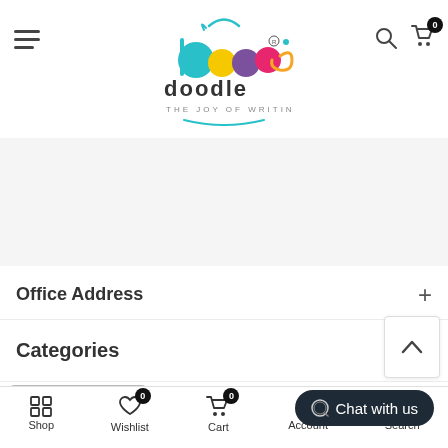[Figure (logo): Doodle - The Joy of Writing logo with colorful circles and stylized text]
Office Address
Categories
ADD TO CART
Chat with us
Shop | Wishlist 0 | Cart 0 | Account | Search